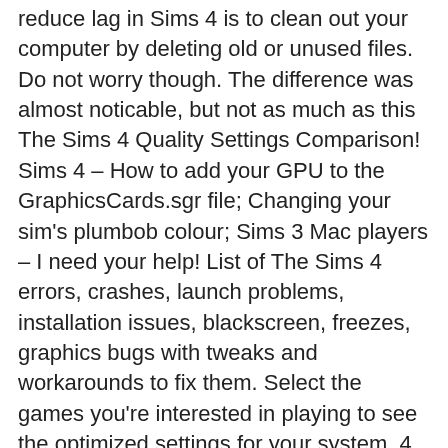reduce lag in Sims 4 is to clean out your computer by deleting old or unused files. Do not worry though. The difference was almost noticable, but not as much as this The Sims 4 Quality Settings Comparison! Sims 4 – How to add your GPU to the GraphicsCards.sgr file; Changing your sim's plumbob colour; Sims 3 Mac players – I need your help! List of The Sims 4 errors, crashes, launch problems, installation issues, blackscreen, freezes, graphics bugs with tweaks and workarounds to fix them. Select the games you're interested in playing to see the optimized settings for your system. 4 GB will also be needed to achieve the The Sims 4 rec specs and get 60FPS. If you're concerned about jagged edges on your sims and objects, don't worry, Reshade will take care of that. Windows 7 (SP1), Windows 8, Windows 8.1, or Windows 10; CPU: 1.8 GHz Intel Core 2 Duo, AMD Athlon 64 Dual-Core 4000+ or equivalent (For computers using built-in graphics chipsets, the game requires 2.0 GHz Intel Core 2 Duo, 2.0 GHz AMD Athlon 64 X2 The Sims 4 rec specs and get